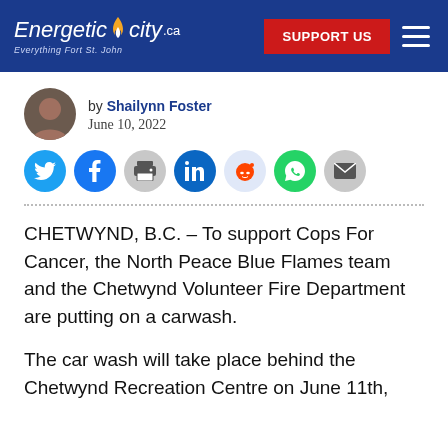Energetic City.ca — Everything Fort St John | SUPPORT US
by Shailynn Foster
June 10, 2022
CHETWYND, B.C. – To support Cops For Cancer, the North Peace Blue Flames team and the Chetwynd Volunteer Fire Department are putting on a carwash.
The car wash will take place behind the Chetwynd Recreation Centre on June 11th,